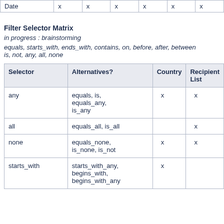| Date | x | x | x | x | x | x |
| --- | --- | --- | --- | --- | --- | --- |
Filter Selector Matrix
in progress : brainstorming
equals, starts_with, ends_with, contains, on, before, after, between
is, not, any, all, none
| Selector | Alternatives? | Country | Recipient List |
| --- | --- | --- | --- |
| any | equals, is, equals_any, is_any | x | x |
| all | equals_all, is_all |  | x |
| none | equals_none, is_none, is_not | x | x |
| starts_with | starts_with_any, begins_with, begins_with_any | x |  |